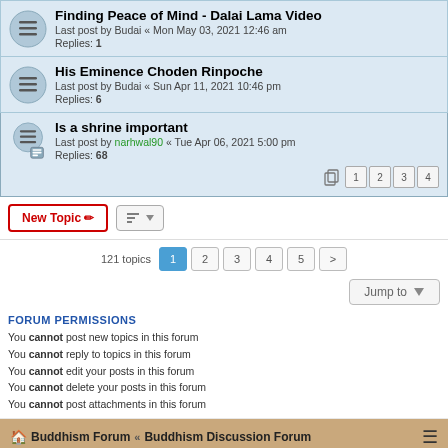Finding Peace of Mind - Dalai Lama Video
Last post by Budai « Mon May 03, 2021 12:46 am
Replies: 1
His Eminence Choden Rinpoche
Last post by Budai « Sun Apr 11, 2021 10:46 pm
Replies: 6
Is a shrine important
Last post by narhwal90 « Tue Apr 06, 2021 5:00 pm
Replies: 68
New Topic | Sort | 121 topics | 1 2 3 4 5 > | Jump to
FORUM PERMISSIONS
You cannot post new topics in this forum
You cannot reply to topics in this forum
You cannot edit your posts in this forum
You cannot delete your posts in this forum
You cannot post attachments in this forum
Buddhism Forum « Buddhism Discussion Forum
Dharma Wheel is associated with Dhamma Wheel, Dharma Paths, Dhamma Wiki, and The Dhamma.